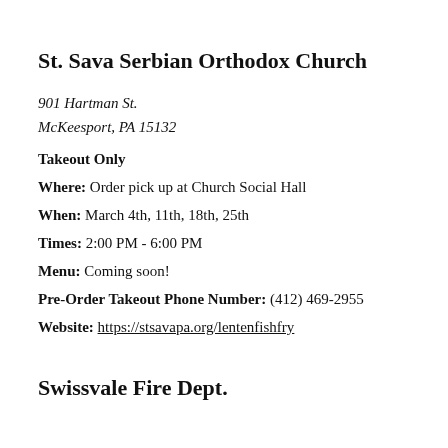St. Sava Serbian Orthodox Church
901 Hartman St.
McKeesport, PA 15132
Takeout Only
Where: Order pick up at Church Social Hall
When: March 4th, 11th, 18th, 25th
Times: 2:00 PM - 6:00 PM
Menu: Coming soon!
Pre-Order Takeout Phone Number: (412) 469-2955
Website: https://stsavapa.org/lentenfishfry
Swissvale Fire Dept.